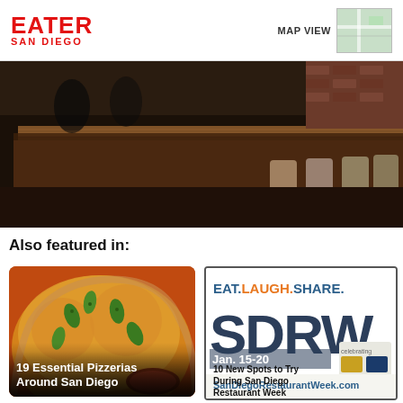EATER SAN DIEGO | MAP VIEW
[Figure (photo): Interior bar scene showing a wooden bar counter with stools, warm lighting, brick wall background]
Also featured in:
[Figure (photo): Close-up of pizza slices with toppings including jalapeños and cheese, with a dipping sauce bowl]
19 Essential Pizzerias Around San Diego
[Figure (infographic): EAT.LAUGH.SHARE. SDRW San Diego Restaurant Week promotional graphic with logos]
10 New Spots to Try During San Diego Restaurant Week